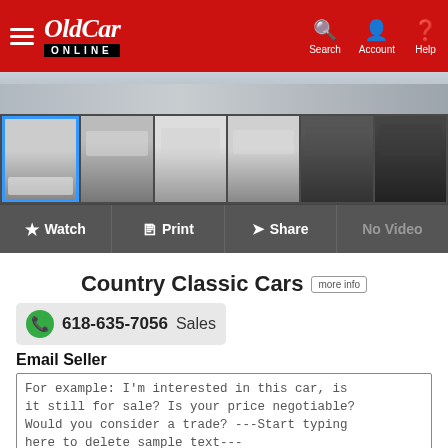OldCar ONLINE — Search, Account, Help
[Figure (photo): Hero banner image of a classic Jeep-style vehicle, cropped/partial view at top]
[Figure (photo): Thumbnail gallery row: 6 photos of a white classic 4x4 Jeep-type vehicle from various angles including exterior, interior, and dashboard]
Watch  Print  Share  No Video
Country Classic Cars more info
618-635-7056  Sales
Email Seller
For example: I'm interested in this car, is it still for sale? Is your price negotiable? Would you consider a trade? ---Start typing here to delete sample text---